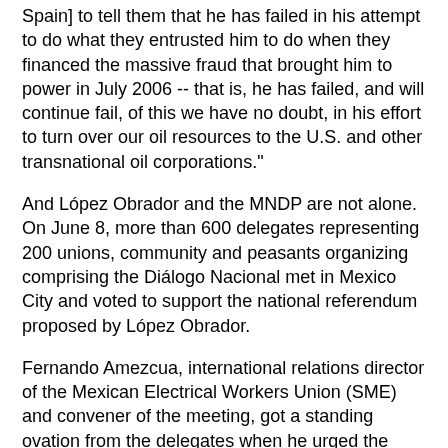Spain] to tell them that he has failed in his attempt to do what they entrusted him to do when they financed the massive fraud that brought him to power in July 2006 -- that is, he has failed, and will continue fail, of this we have no doubt, in his effort to turn over our oil resources to the U.S. and other transnational oil corporations."
And López Obrador and the MNDP are not alone. On June 8, more than 600 delegates representing 200 unions, community and peasants organizing comprising the Diálogo Nacional met in Mexico City and voted to support the national referendum proposed by López Obrador.
Fernando Amezcua, international relations director of the Mexican Electrical Workers Union (SME) and convener of the meeting, got a standing ovation from the delegates when he urged the assembly of Dialógo Nacional to support the nationwide referendum, oppose the privatization of Pemex and of all state enterprises and services (including the electricity sector), and also call for the repeal of the counter-reform of the public healthcare plan of the public-sector workers, or ISSSTE.